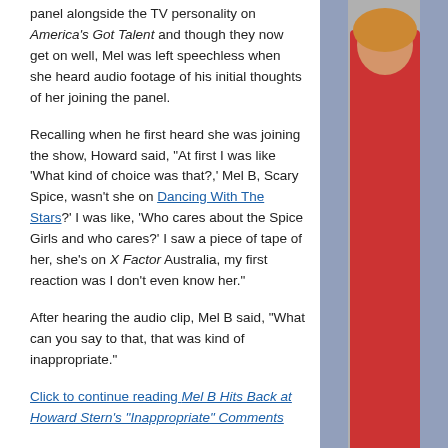panel alongside the TV personality on America's Got Talent and though they now get on well, Mel was left speechless when she heard audio footage of his initial thoughts of her joining the panel.
Recalling when he first heard she was joining the show, Howard said, "At first I was like 'What kind of choice was that?,' Mel B, Scary Spice, wasn't she on Dancing With The Stars?' I was like, 'Who cares about the Spice Girls and who cares?' I saw a piece of tape of her, she's on X Factor Australia, my first reaction was I don't even know her."
After hearing the audio clip, Mel B said, "What can you say to that, that was kind of inappropriate."
Click to continue reading Mel B Hits Back at Howard Stern's "Inappropriate" Comments
[Figure (photo): Woman in red dress on red carpet]
Tools: Permalink | Share on Twitter | Share on Facebook | Comments (0) | Email th
ADVERTISEMENT